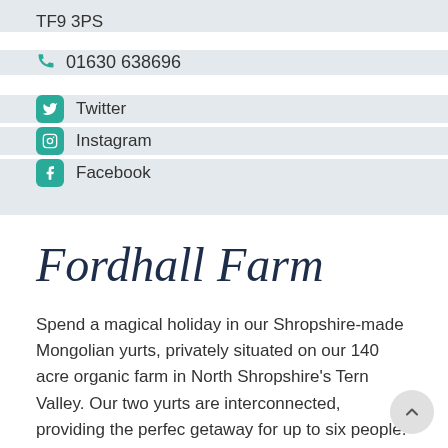TF9 3PS
01630 638696
Twitter
Instagram
Facebook
Fordhall Farm
Spend a magical holiday in our Shropshire-made Mongolian yurts, privately situated on our 140 acre organic farm in North Shropshire's Tern Valley. Our two yurts are interconnected, providing the perfect getaway for up to six people. One is used as the